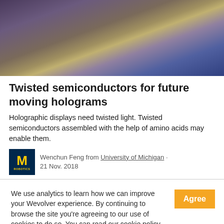[Figure (photo): A blurred abstract image with rainbow-like colors including purple, gold, teal, and blue tones — likely a holographic or light diffraction image.]
Twisted semiconductors for future moving holograms
Holographic displays need twisted light. Twisted semiconductors assembled with the help of amino acids may enable them.
Wenchun Feng from University of Michigan · 21 Nov. 2018
We use analytics to learn how we can improve your Wevolver experience. By continuing to browse the site you're agreeing to our use of cookies to do so. You can read our cookie policy here.